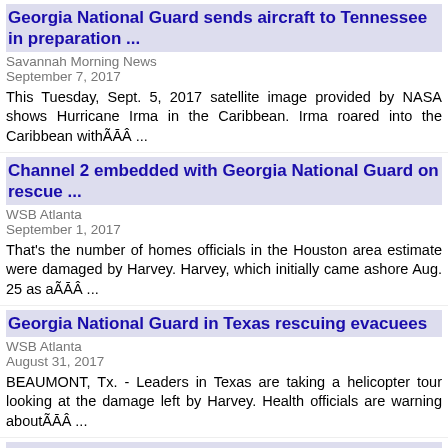Georgia National Guard sends aircraft to Tennessee in preparation ...
Savannah Morning News
September 7, 2017
This Tuesday, Sept. 5, 2017 satellite image provided by NASA shows Hurricane Irma in the Caribbean. Irma roared into the Caribbean withÃĀÂ ...
Channel 2 embedded with Georgia National Guard on rescue ...
WSB Atlanta
September 1, 2017
That's the number of homes officials in the Houston area estimate were damaged by Harvey. Harvey, which initially came ashore Aug. 25 as aÃĀÂ ...
Georgia National Guard in Texas rescuing evacuees
WSB Atlanta
August 31, 2017
BEAUMONT, Tx. - Leaders in Texas are taking a helicopter tour looking at the damage left by Harvey. Health officials are warning aboutÃĀÂ ...
Statue damaged by Atlanta protesters champions unity, not ...
WSOC Charlotte
August 15, 2017